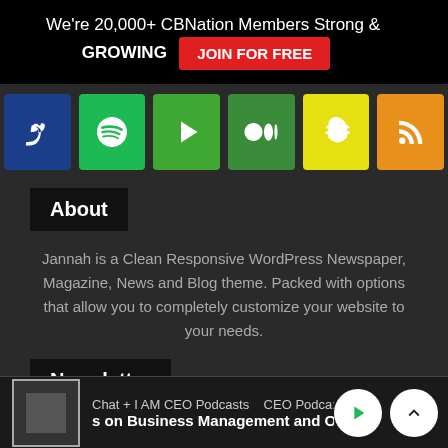We're 20,000+ CBNation Members Strong & GROWING  JOIN FOR FREE
[Figure (infographic): Row of social media icon buttons: PayPal (blue), Spotify (green), Play (green), Medium (dark green), Snapchat (yellow), RSS (orange)]
About
Jannah is a Clean Responsive WordPress Newspaper, Magazine, News and Blog theme. Packed with options that allow you to completely customize your website to your needs.
Newsletter
Chat + I AM CEO Podcasts  CEO Podca:  on Business Management and Ope